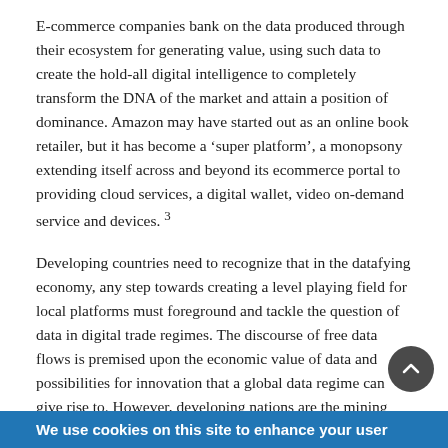E-commerce companies bank on the data produced through their ecosystem for generating value, using such data to create the hold-all digital intelligence to completely transform the DNA of the market and attain a position of dominance. Amazon may have started out as an online book retailer, but it has become a ‘super platform’, a monopsony extending itself across and beyond its ecommerce portal to providing cloud services, a digital wallet, video on-demand service and devices. 3
Developing countries need to recognize that in the datafying economy, any step towards creating a level playing field for local platforms must foreground and tackle the question of data in digital trade regimes. The discourse of free data flows is premised upon the economic value of data and possibilities for innovation that a global data regime can give rise to. However, developing nations are the mining grounds for data, at worst, and the back offices or server farms for low end...
We use cookies on this site to enhance your user